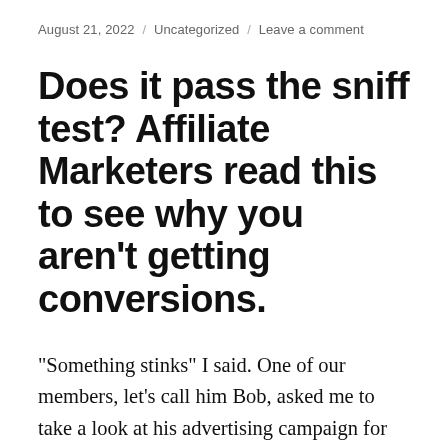August 21, 2022 / Uncategorized / Leave a comment
Does it pass the sniff test? Affiliate Marketers read this to see why you aren't getting conversions.
"Something stinks" I said. One of our members, let's call him Bob, asked me to take a look at his advertising campaign for his Affiliate marketing program. He'd spent a lot of money on advertising specifically solo ads, he was getting "sign ups" or leads but none were